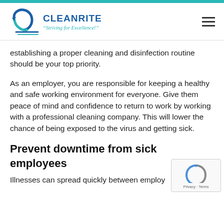CLEANRITE — "Striving for Excellence!"
establishing a proper cleaning and disinfection routine should be your top priority.
As an employer, you are responsible for keeping a healthy and safe working environment for everyone. Give them peace of mind and confidence to return to work by working with a professional cleaning company. This will lower the chance of being exposed to the virus and getting sick.
Prevent downtime from sick employees
Illnesses can spread quickly between employees and...